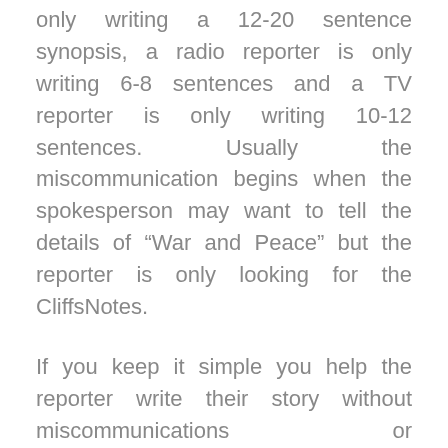only writing a 12-20 sentence synopsis, a radio reporter is only writing 6-8 sentences and a TV reporter is only writing 10-12 sentences. Usually the miscommunication begins when the spokesperson may want to tell the details of “War and Peace” but the reporter is only looking for the CliffsNotes.
If you keep it simple you help the reporter write their story without miscommunications or misinterpretation and you won’t be taken out of context. That’s why in so many media training programs the trainer will ask the spokesperson to focus on just their 3 most important messages.